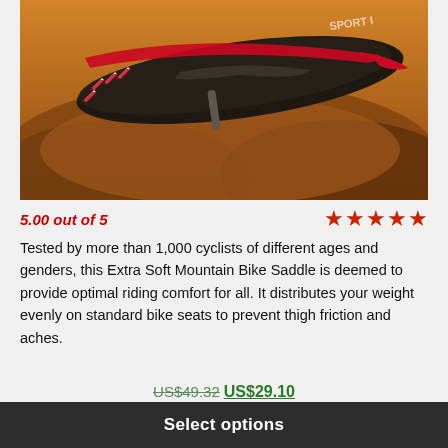[Figure (photo): Close-up photo of a black and red Extra Soft Mountain Bike Saddle with chevron/arrow markings on the left side, against a warm golden rocky outdoor background]
5.00 out of 5
[Figure (other): Five red star rating icons]
Tested by more than 1,000 cyclists of different ages and genders, this Extra Soft Mountain Bike Saddle is deemed to provide optimal riding comfort for all. It distributes your weight evenly on standard bike seats to prevent thigh friction and aches.
US$49.32 US$29.10
Select options